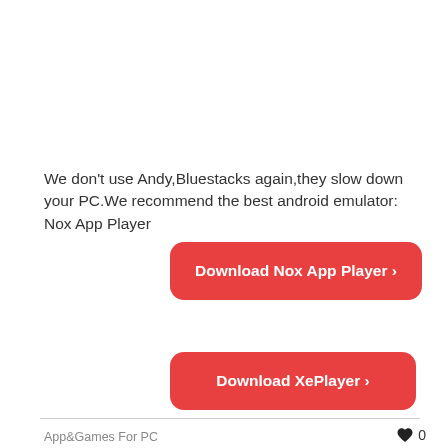We don't use Andy,Bluestacks again,they slow down your PC.We recommend the best android emulator: Nox App Player
[Figure (screenshot): Red rounded button labeled 'Download Nox App Player ›']
[Figure (screenshot): Red rounded button labeled 'Download XePlayer ›']
App&Games For PC
0